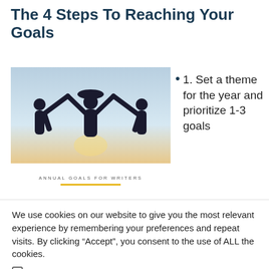The 4 Steps To Reaching Your Goals
[Figure (photo): Silhouette of three people raising joined hands in the air against a twilight sky, with a banner reading 'ANNUAL GOALS FOR WRITERS' and a yellow underline below]
1. Set a theme for the year and prioritize 1-3 goals
We use cookies on our website to give you the most relevant experience by remembering your preferences and repeat visits. By clicking “Accept”, you consent to the use of ALL the cookies.
Do not sell my personal information.
Cookie Settings   Accept